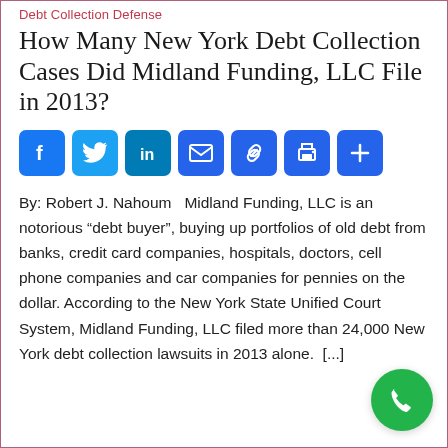Debt Collection Defense
How Many New York Debt Collection Cases Did Midland Funding, LLC File in 2013?
[Figure (infographic): Social sharing buttons: Facebook, Twitter, LinkedIn, Email, Link, Print, More (+)]
By: Robert J. Nahoum   Midland Funding, LLC is an notorious “debt buyer”, buying up portfolios of old debt from banks, credit card companies, hospitals, doctors, cell phone companies and car companies for pennies on the dollar. According to the New York State Unified Court System, Midland Funding, LLC filed more than 24,000 New York debt collection lawsuits in 2013 alone.  [...]